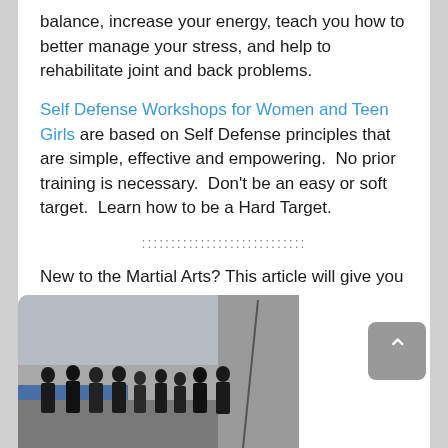balance, increase your energy, teach you how to better manage your stress, and help to rehabilitate joint and back problems.
Self Defense Workshops for Women and Teen Girls are based on Self Defense principles that are simple, effective and empowering.  No prior training is necessary.  Don't be an easy or soft target.  Learn how to be a Hard Target.
::::::::::::::::::::::::::::
New to the Martial Arts? This article will give you an idea on… How to Choose a Martial Arts School
[Figure (photo): Group photo of martial arts students and instructors posing together in a gym or dojo. A weapon (staff or bo) is visible to the right side of the group.]